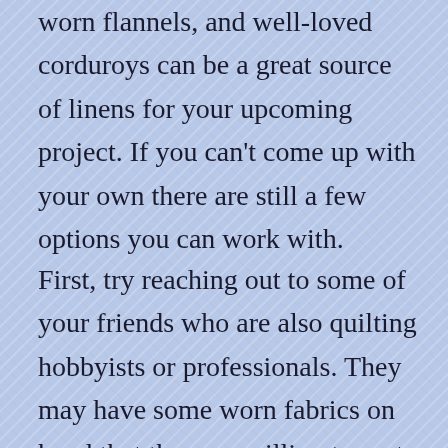worn flannels, and well-loved corduroys can be a great source of linens for your upcoming project. If you can't come up with your own there are still a few options you can work with.
First, try reaching out to some of your friends who are also quilting hobbyists or professionals. They may have some worn fabrics on hand that they are willing to part with for a reasonable price – or, if you're lucky, completely free. It's always good to get help from a friend when you can, and this is why it's important to